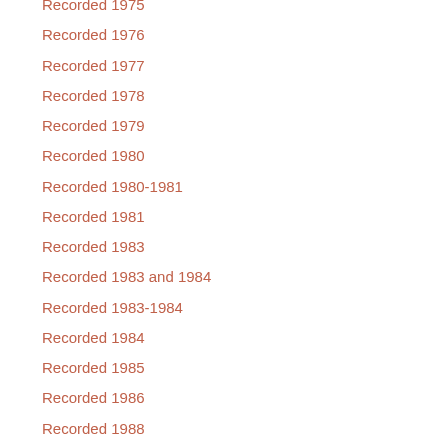Recorded 1975
Recorded 1976
Recorded 1977
Recorded 1978
Recorded 1979
Recorded 1980
Recorded 1980-1981
Recorded 1981
Recorded 1983
Recorded 1983 and 1984
Recorded 1983-1984
Recorded 1984
Recorded 1985
Recorded 1986
Recorded 1988